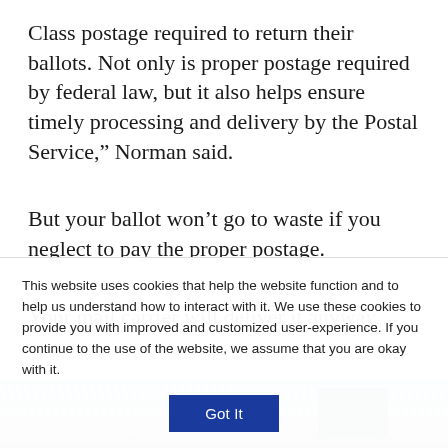Class postage required to return their ballots. Not only is proper postage required by federal law, but it also helps ensure timely processing and delivery by the Postal Service,” Norman said.
But your ballot won’t go to waste if you neglect to pay the proper postage.
Your mail carrier will deliver it anyway.
[Figure (photo): Partial photo showing a mailbox or postal structure with blue sky and bare trees in background]
This website uses cookies that help the website function and to help us understand how to interact with it. We use these cookies to provide you with improved and customized user-experience. If you continue to the use of the website, we assume that you are okay with it.